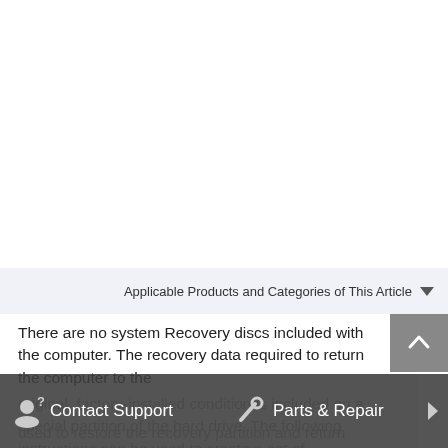Applicable Products and Categories of This Article
There are no system Recovery discs included with the computer. The recovery data required to return the computer to the original, factory-installed condition is included on a special partition of the hard drive. The following instructions can be used to create a set of Recovery Discs from that data, which can be used to restore the recovery partition and return the computer
Contact Support
Parts & Repair